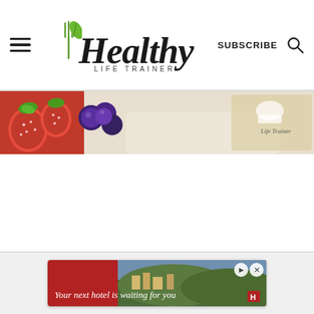Healthy Life Trainer — SUBSCRIBE
[Figure (photo): Partial top of a food photo showing berries (strawberries and blueberries) on a white plate, with a Healthy Life Trainer logo watermark on the right side.]
[Figure (photo): Advertisement banner reading 'Your next hotel is waiting for you' with a hotel/landscape image background, and close/forward arrow controls in the top right.]